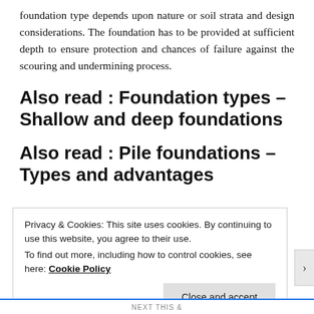foundation type depends upon nature or soil strata and design considerations. The foundation has to be provided at sufficient depth to ensure protection and chances of failure against the scouring and undermining process.
Also read : Foundation types – Shallow and deep foundations
Also read : Pile foundations – Types and advantages
Privacy & Cookies: This site uses cookies. By continuing to use this website, you agree to their use.
To find out more, including how to control cookies, see here: Cookie Policy
Close and accept